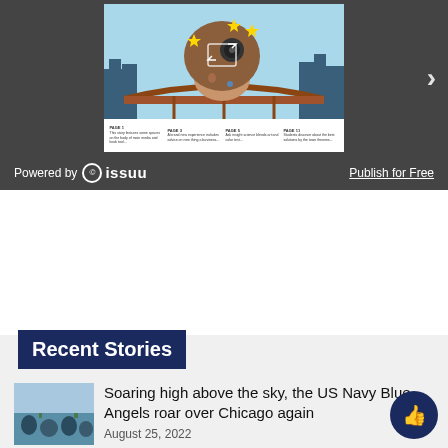[Figure (screenshot): Issuu embedded magazine viewer showing a magazine cover with an illustrated woman with elaborate hair containing stars and a film reel, city skyline and bridge in background. Navigation arrow on right side.]
Powered by  issuu
Publish for Free
Recent Stories
[Figure (photo): Thumbnail photo showing crowd scene outdoors, likely at air show]
Soaring high above the sky, the US Navy Blue Angels roar over Chicago again
August 25, 2022